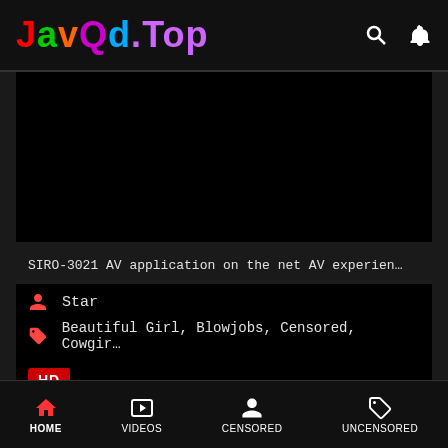JavQd.Top
[Figure (screenshot): Black video thumbnail area]
SIRO-3021 AV application on the net AV experien…
Star
Beautiful Girl, Blowjobs, Censored, Cowgir…
HD
HOME  VIDEOS  CENSORED  UNCENSORED